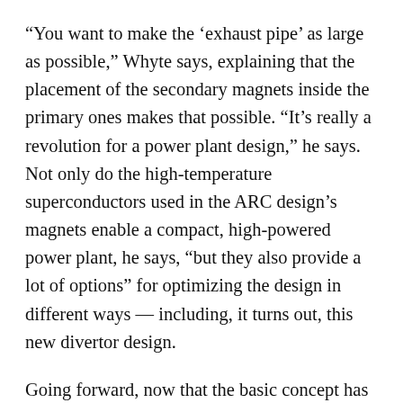“You want to make the ‘exhaust pipe’ as large as possible,” Whyte says, explaining that the placement of the secondary magnets inside the primary ones makes that possible. “It’s really a revolution for a power plant design,” he says. Not only do the high-temperature superconductors used in the ARC design’s magnets enable a compact, high-powered power plant, he says, “but they also provide a lot of options” for optimizing the design in different ways — including, it turns out, this new divertor design.
Going forward, now that the basic concept has been developed, there is plenty of room for further development and optimization, including the exact shape and placement of these secondary magnets, the team says. The researchers are working on